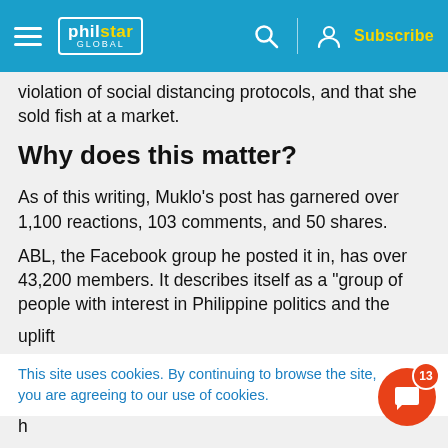philstar GLOBAL — Subscribe
violation of social distancing protocols, and that she sold fish at a market.
Why does this matter?
As of this writing, Muklo's post has garnered over 1,100 reactions, 103 comments, and 50 shares.
ABL, the Facebook group he posted it in, has over 43,200 members. It describes itself as a "group of people with interest in Philippine politics and the uplift...
This site uses cookies. By continuing to browse the site, you are agreeing to our use of cookies.